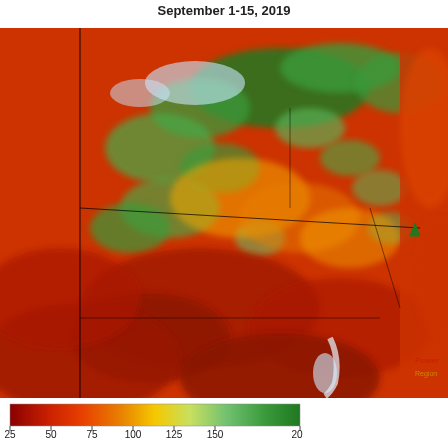September 1-15, 2019
[Figure (map): Soil moisture or vegetation index map of the northeastern United States (including New York, Pennsylvania, New Jersey, Maryland, Connecticut, Vermont, New Hampshire, Massachusetts, Delaware, and surrounding areas) for September 1-15, 2019. The map shows a color gradient from dark red (low values, ~25) through orange, yellow, light green, to dark green (high values, ~200+). Southern and coastal areas are predominantly red/orange indicating dry or low vegetation conditions, while northern areas show more green patches indicating wetter or higher vegetation index values.]
[Figure (map): Color scale legend bar ranging from dark red (25) through orange (50), yellow-orange (75), yellow (100), light green (125), green (150), to dark green (200+). Labels: 25, 50, 75, 100, 125, 150, 200]
Powerhouse logo and Regional label in lower right